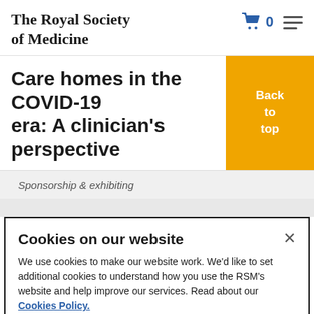The Royal Society of Medicine
Care homes in the COVID-19 era: A clinician's perspective
Back to top
Sponsorship & exhibiting
Cookies on our website
We use cookies to make our website work. We'd like to set additional cookies to understand how you use the RSM's website and help improve our services. Read about our Cookies Policy.
Cookies settings
Accept all cookies